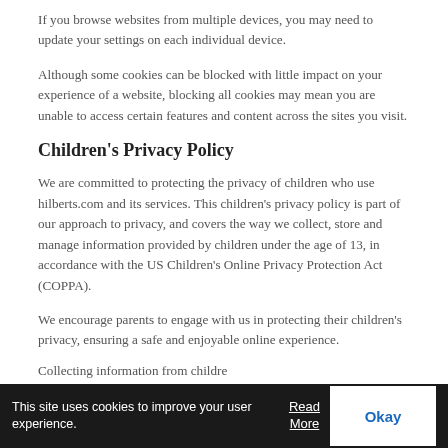If you browse websites from multiple devices, you may need to update your settings on each individual device.
Although some cookies can be blocked with little impact on your experience of a website, blocking all cookies may mean you are unable to access certain features and content across the sites you visit.
Children's Privacy Policy
We are committed to protecting the privacy of children who use hilberts.com and its services. This children's privacy policy is part of our approach to privacy, and covers the way we collect, store and manage information provided by children under the age of 13, in accordance with the US Children's Online Privacy Protection Act (COPPA).
We encourage parents to engage with us in protecting their children's privacy, ensuring a safe and enjoyable online experience.
Collecting information from childre
This site uses cookies to improve your user experience.  Read More  Okay